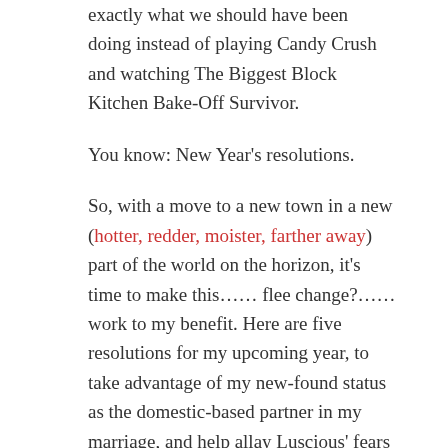exactly what we should have been doing instead of playing Candy Crush and watching The Biggest Block Kitchen Bake-Off Survivor.
You know: New Year's resolutions.
So, with a move to a new town in a new (hotter, redder, moister, farther away) part of the world on the horizon, it’s time to make this…… flee change?…… work to my benefit. Here are five resolutions for my upcoming year, to take advantage of my new-found status as the domestic-based partner in my marriage, and help allay Luscious’ fears that it’ll all come crashing down around our ears as she dies of work-related stress and I turn into some sort of obsessively masturbating, inanimate, Jabba the Hutt-shaped, couch-based life-form.
Five For Friday: New Year’s Resolutions in a